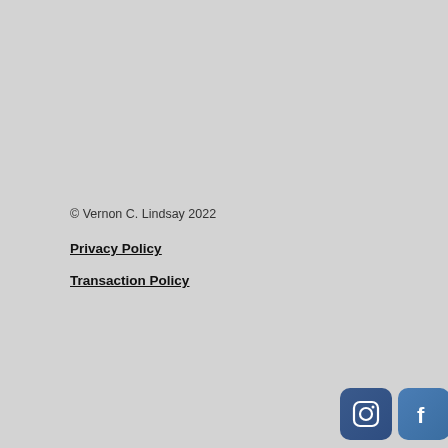[Figure (other): Large light gray blank area occupying the upper portion of the page]
© Vernon C. Lindsay 2022
Privacy Policy
Transaction Policy
[Figure (other): Four social media icon buttons: Instagram, Facebook, LinkedIn, RSS feed]